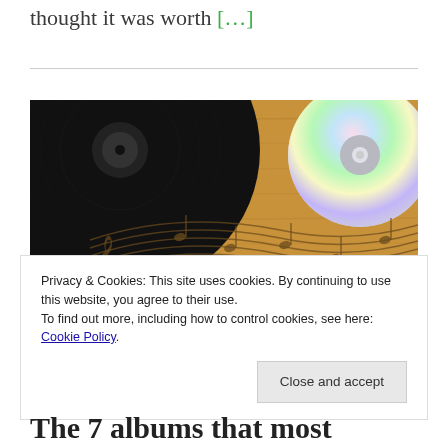thought it was worth […]
[Figure (photo): Photo of a vinyl record and a CD on a wooden surface with musical notes etched or drawn on the wood, and a microphone visible at the bottom.]
Privacy & Cookies: This site uses cookies. By continuing to use this website, you agree to their use.
To find out more, including how to control cookies, see here: Cookie Policy
The 7 albums that most